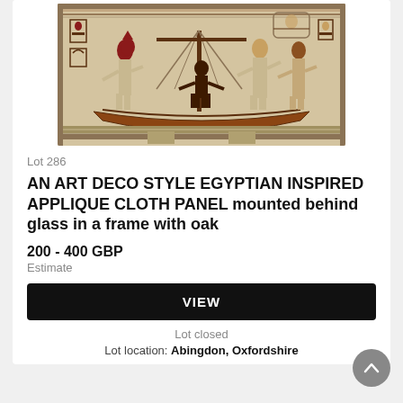[Figure (photo): An Art Deco style Egyptian inspired applique cloth panel showing an ancient Egyptian boat scene with figures, hieroglyphics, and a sail, depicted in earthy tones of beige, dark brown, and red.]
Lot 286
AN ART DECO STYLE EGYPTIAN INSPIRED APPLIQUE CLOTH PANEL mounted behind glass in a frame with oak
200 - 400 GBP
Estimate
VIEW
Lot closed
Lot location: Abingdon, Oxfordshire